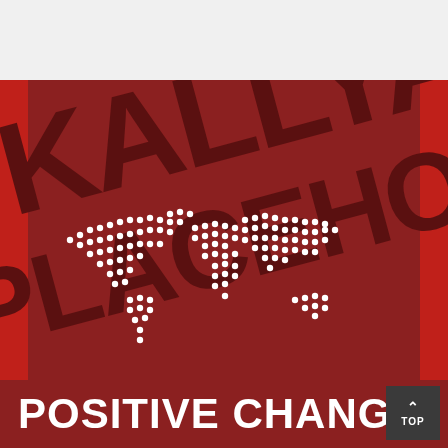[Figure (illustration): Dark red/maroon brand image with watermark text 'KALLYA PLACEHOLDER' written diagonally in dark brown, a dotted white world map in the center-left, red stripes on left and right edges, and the bold white text 'POSITIVE CHANGE' at the bottom.]